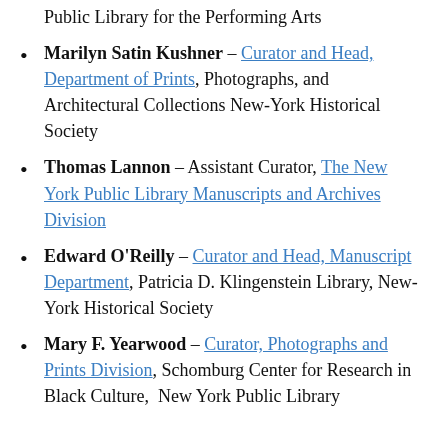Public Library for the Performing Arts
Marilyn Satin Kushner – Curator and Head, Department of Prints, Photographs, and Architectural Collections New-York Historical Society
Thomas Lannon – Assistant Curator, The New York Public Library Manuscripts and Archives Division
Edward O'Reilly – Curator and Head, Manuscript Department, Patricia D. Klingenstein Library, New-York Historical Society
Mary F. Yearwood – Curator, Photographs and Prints Division, Schomburg Center for Research in Black Culture,  New York Public Library